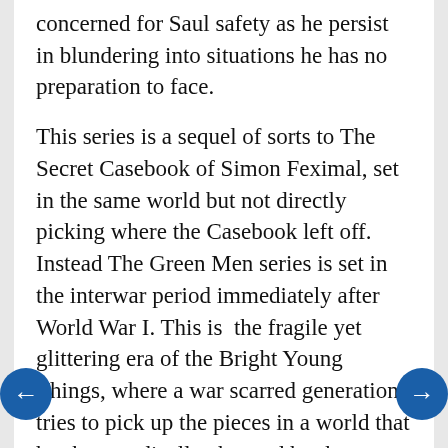concerned for Saul safety as he persist in blundering into situations he has no preparation to face.
This series is a sequel of sorts to The Secret Casebook of Simon Feximal, set in the same world but not directly picking where the Casebook left off. Instead The Green Men series is set in the interwar period immediately after World War I. This is  the fragile yet glittering era of the Bright Young Things, where a war scarred generation tries to pick up the pieces in a world that has been radically changed by the war.  Although Sam Caldwell, Feximal's adopted son is one of the supporting characters and the bureaucratic Shadow Ministry also returns to serve as Randolph's nemesis in this novel, you don't